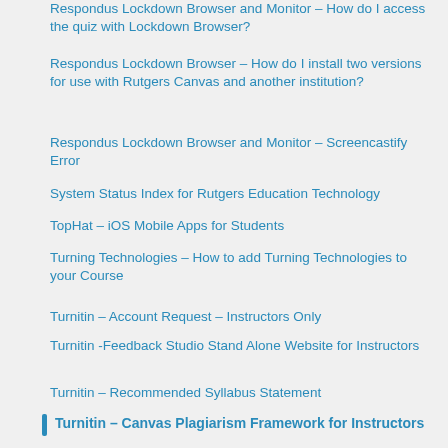Respondus Lockdown Browser and Monitor – How do I access the quiz with Lockdown Browser?
Respondus Lockdown Browser – How do I install two versions for use with Rutgers Canvas and another institution?
Respondus Lockdown Browser and Monitor – Screencastify Error
System Status Index for Rutgers Education Technology
TopHat – iOS Mobile Apps for Students
Turning Technologies – How to add Turning Technologies to your Course
Turnitin – Account Request – Instructors Only
Turnitin -Feedback Studio Stand Alone Website for Instructors
Turnitin – Recommended Syllabus Statement
Turnitin – Adding to an Assignment in Canvas as an Instructor
Turnitin – Canvas Plagiarism Framework for Instructors
TurnItin – Feedback Studio Overview for Students and